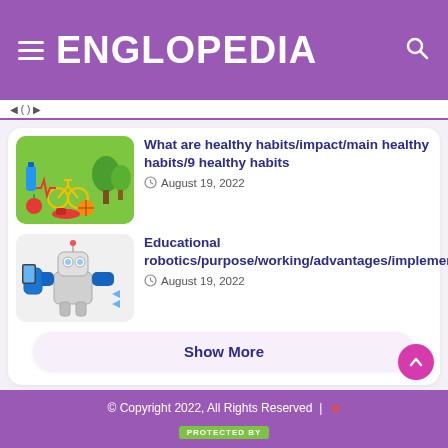ENGLOPEDIA
What are healthy habits/impact/main healthy habits/9 healthy habits
August 19, 2022
[Figure (illustration): Colorful illustration of healthy lifestyle items: water bottle, heart monitor, bicycle, vegetables, basketball, trees on green background]
Educational robotics/purpose/working/advantages/implementation
August 19, 2022
[Figure (illustration): Illustration of a robot holding a tablet/phone device with blue gloves]
Show More
© Copyright 2022, All Rights Reserved | ❤ PROTECTED BY